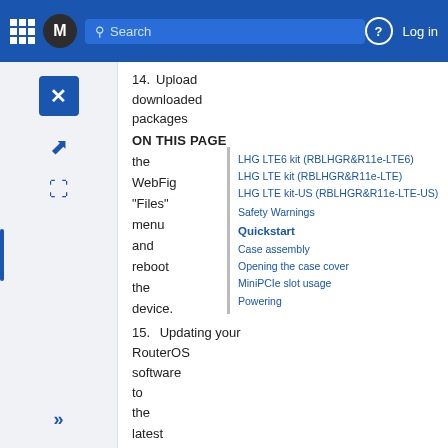Mode Search | Log in
14. Upload downloaded packages
ON THIS PAGE
LHG LTE6 kit (RBLHGR&R11e-LTE6)
LHG LTE kit (RBLHGR&R11e-LTE)
LHG LTE kit-US (RBLHGR&R11e-LTE-US)
Safety Warnings
Quickstart
Case assembly
Opening the case cover
MiniPCIe slot usage
Powering
15. Updating your RouterOS software to the latest version will ensure